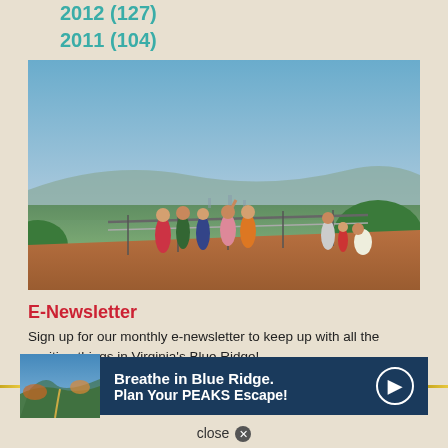2012 (127)
2011 (104)
[Figure (photo): Group of people standing on a wooden observation deck overlook with a panoramic view of a valley city and mountains in the background under a partly cloudy sky.]
E-Newsletter
Sign up for our monthly e-newsletter to keep up with all the exciting things in Virginia's Blue Ridge!
LEARN MORE »
[Figure (infographic): Dark blue banner ad with thumbnail image on left, bold text 'Breathe in Blue Ridge. Plan Your PEAKS Escape!' and circular arrow button on right, flanked by gold horizontal rules.]
close ✕